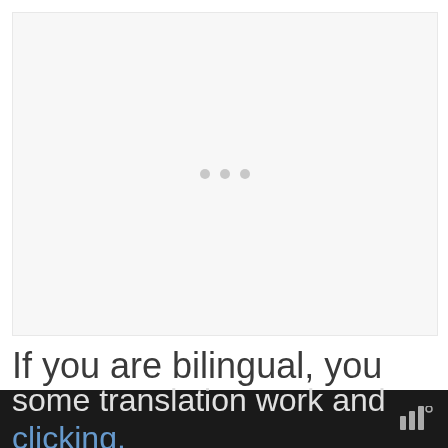[Figure (other): Large light gray rectangular area with three small gray dots centered, indicating a loading or placeholder state]
If you are bilingual, you could also consider some translation work and clicking.
some translation work and clicking.